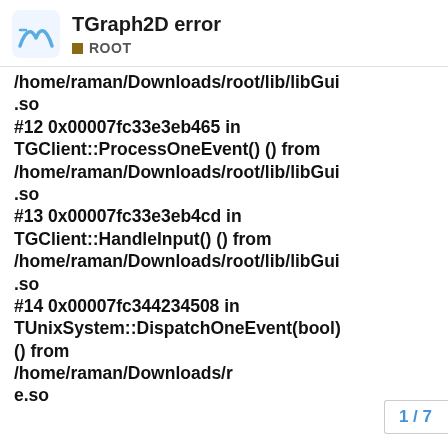TGraph2D error — ROOT
/home/raman/Downloads/root/lib/libGui.so
#12 0x00007fc33e3eb465 in TGClient::ProcessOneEvent() () from /home/raman/Downloads/root/lib/libGui.so
#13 0x00007fc33e3eb4cd in TGClient::HandleInput() () from /home/raman/Downloads/root/lib/libGui.so
#14 0x00007fc344234508 in TUnixSystem::DispatchOneEvent(bool) () from /home/raman/Downloads/r...e.so
1 / 7